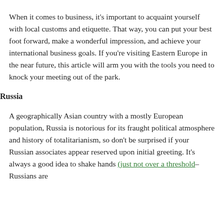When it comes to business, it's important to acquaint yourself with local customs and etiquette. That way, you can put your best foot forward, make a wonderful impression, and achieve your international business goals. If you're visiting Eastern Europe in the near future, this article will arm you with the tools you need to knock your meeting out of the park.
Russia
A geographically Asian country with a mostly European population, Russia is notorious for its fraught political atmosphere and history of totalitarianism, so don't be surprised if your Russian associates appear reserved upon initial greeting. It's always a good idea to shake hands (just not over a threshold–Russians are